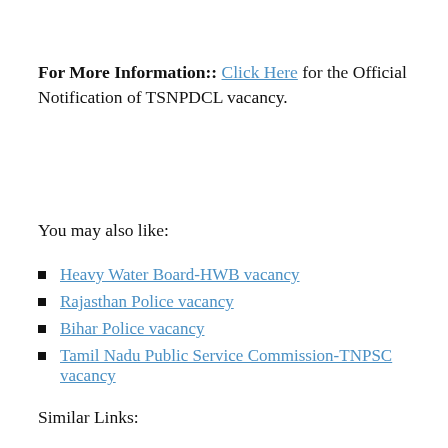For More Information:: Click Here for the Official Notification of TSNPDCL vacancy.
You may also like:
Heavy Water Board-HWB vacancy
Rajasthan Police vacancy
Bihar Police vacancy
Tamil Nadu Public Service Commission-TNPSC vacancy
Similar Links: